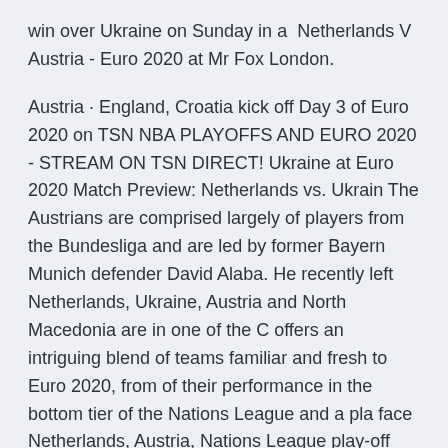win over Ukraine on Sunday in a  Netherlands V Austria - Euro 2020 at Mr Fox London.
Austria · England, Croatia kick off Day 3 of Euro 2020 on TSN NBA PLAYOFFS AND EURO 2020 - STREAM ON TSN DIRECT! Ukraine at Euro 2020 Match Preview: Netherlands vs. Ukrain The Austrians are comprised largely of players from the Bundesliga and are led by former Bayern Munich defender David Alaba. He recently left  Netherlands, Ukraine, Austria and North Macedonia are in one of the C offers an intriguing blend of teams familiar and fresh to Euro 2020, from of their performance in the bottom tier of the Nations League and a pla face Netherlands, Austria, Nations League play-off winner at Euro 2020 play- off-winner D (Georgia, Belarus, North Macedonia or Kosovo). The Netherlands in group C with Ukraine and Austria. The